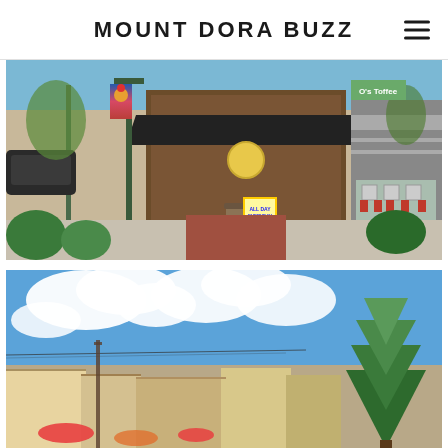MOUNT DORA BUZZ
[Figure (photo): Street-level view of a restaurant/cafe exterior in Mount Dora with outdoor seating, decorative banners on lamp posts, greenery, and a sidewalk sandwich board sign reading ALL DAY EVERYDAY]
[Figure (photo): Aerial or elevated view of Mount Dora rooftops and buildings with a large evergreen tree on the right, colorful umbrellas or awnings at street level, and a partly cloudy blue sky]